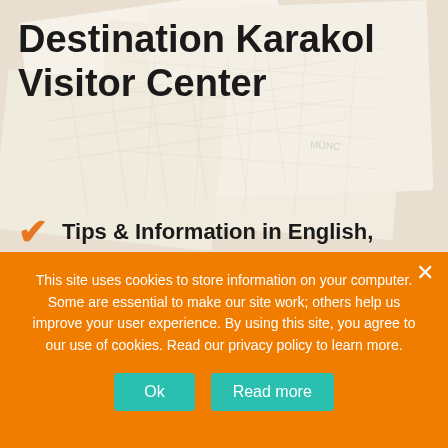[Figure (photo): Background photo of overlapping vintage/topographic maps spread out on a surface]
Destination Karakol Visitor Center
Tips & Information in English, Russian, and other languages
Organized Tours Around Kyrgyzstan, Hiking, Outdoor, Off-road and more
City and Food Tours, Accommodation,
This site uses cookies to store information on your computer. Some are essential to make our site work; others help us improve your user experience. By using this site, you agree to our use of cookies. Read our privacy policy to learn more.